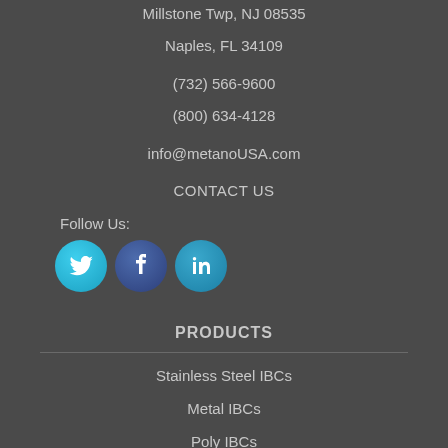Millstone Twp, NJ 08535
Naples, FL 34109
(732) 566-9600
(800) 634-4128
info@metanoUSA.com
CONTACT US
Follow Us:
[Figure (illustration): Three social media icons: Twitter (bird), Facebook (f), LinkedIn (in)]
PRODUCTS
Stainless Steel IBCs
Metal IBCs
Poly IBCs